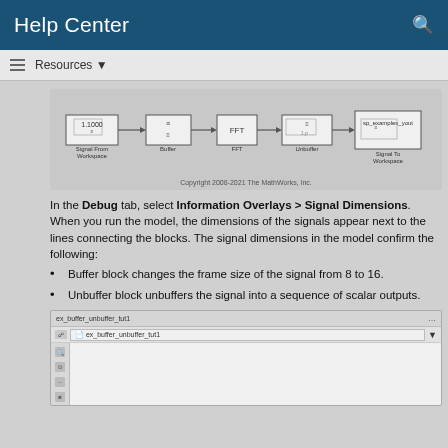Help Center
[Figure (screenshot): Simulink block diagram showing: Signal From Workspace (1.1000) → Buffer → FFT → Unbuffer → Signal To Workspace (sp_examples_yout). Copyright 2008-2021 The MathWorks, Inc.]
In the Debug tab, select Information Overlays > Signal Dimensions. When you run the model, the dimensions of the signals appear next to the lines connecting the blocks. The signal dimensions in the model confirm the following:
Buffer block changes the frame size of the signal from 8 to 16.
Unbuffer block unbuffers the signal into a sequence of scalar outputs.
[Figure (screenshot): Simulink model window showing ex_buffer_unbuffer_tut1 model with toolbar and empty canvas area with left-side tool icons.]